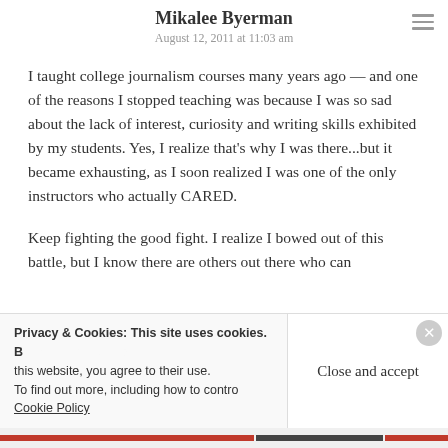Mikalee Byerman
August 12, 2011 at 11:03 am
I taught college journalism courses many years ago — and one of the reasons I stopped teaching was because I was so sad about the lack of interest, curiosity and writing skills exhibited by my students. Yes, I realize that's why I was there...but it became exhausting, as I soon realized I was one of the only instructors who actually CARED.
Keep fighting the good fight. I realize I bowed out of this battle, but I know there are others out there who can
Privacy & Cookies: This site uses cookies. By continuing to use this website, you agree to their use. To find out more, including how to control cookies, see here: Cookie Policy
Close and accept